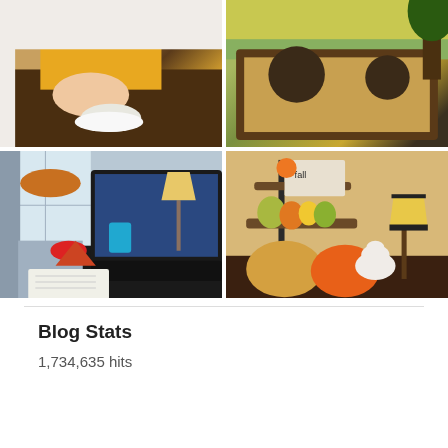[Figure (photo): Four-photo grid: top-left shows a child's hands playing with clay/playdough shapes on a table; top-right shows children playing in a sandbox outdoors with colorful toys; bottom-left shows a young boy sitting at a desk with a computer, geometric shapes, and a notebook; bottom-right shows fall/autumn decorations including pumpkins, gourds on a tiered stand, and a lamp.]
Blog Stats
1,734,635 hits